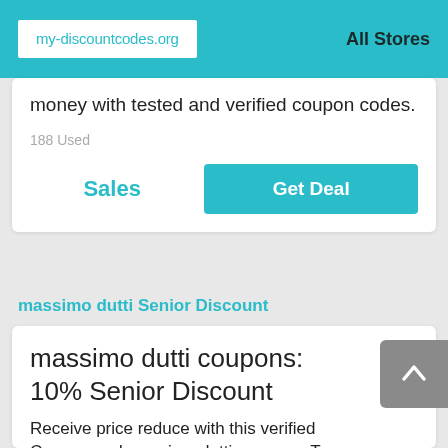my-discountcodes.org | All Stores
money with tested and verified coupon codes.
188 Used
Sales
Get Deal
massimo dutti Senior Discount
massimo dutti coupons: 10% Senior Discount
Receive price reduce with this verified Coupon and massimo dutti coupons. To...